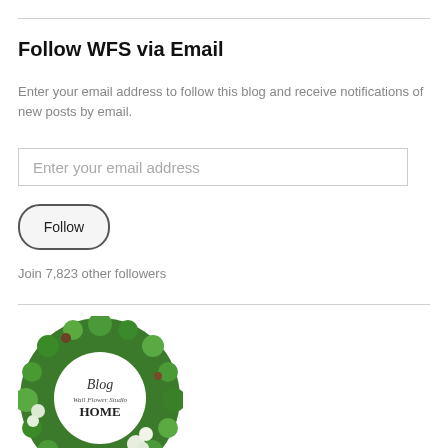Follow WFS via Email
Enter your email address to follow this blog and receive notifications of new posts by email.
Enter your email address
Follow
Join 7,823 other followers
[Figure (logo): Circular green moss wreath with text 'Blog Wall Flower Studio HOME' in the center]